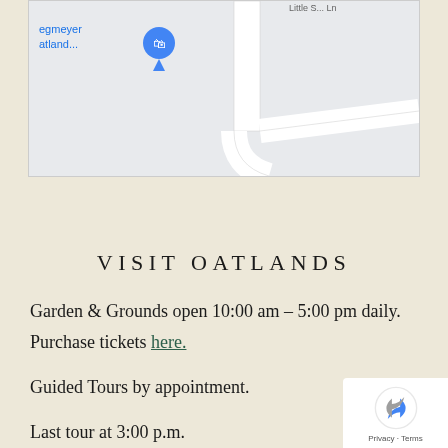[Figure (map): Partial Google Maps view showing a road intersection with a location pin labeled 'egmeyer atland...' in blue, with road labels including 'Little S... Ln']
VISIT OATLANDS
Garden & Grounds open 10:00 am – 5:00 pm daily.
Purchase tickets here.
Guided Tours by appointment.
Last tour at 3:00 p.m.